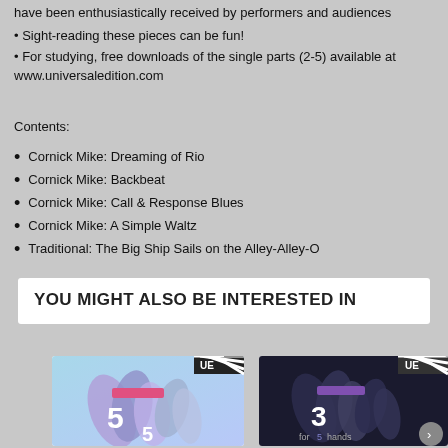have been enthusiastically received by performers and audiences
• Sight-reading these pieces can be fun!
• For studying, free downloads of the single parts (2-5) available at www.universaledition.com
Contents:
Cornick Mike: Dreaming of Rio
Cornick Mike: Backbeat
Cornick Mike: Call & Response Blues
Cornick Mike: A Simple Waltz
Traditional: The Big Ship Sails on the Alley-Alley-O
YOU MIGHT ALSO BE INTERESTED IN
[Figure (photo): Book cover with colorful blue and purple hand silhouettes, number 5, Universal Edition]
[Figure (photo): Book cover with dark monochrome hand silhouettes, number 3, for hands, Universal Edition]